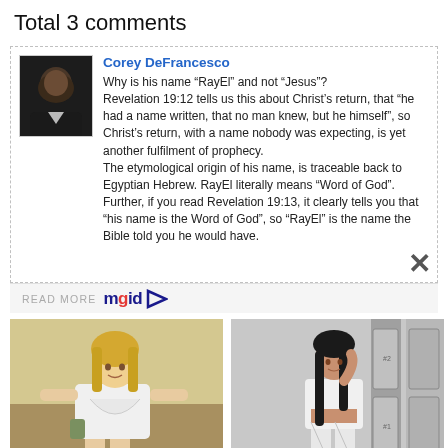Total 3 comments
Corey DeFrancesco
Why is his name “RayEl” and not “Jesus”?
Revelation 19:12 tells us this about Christ’s return, that “he had a name written, that no man knew, but he himself”, so Christ’s return, with a name nobody was expecting, is yet another fulfilment of prophecy.
The etymological origin of his name, is traceable back to Egyptian Hebrew. RayEl literally means “Word of God”. Further, if you read Revelation 19:13, it clearly tells you that “his name is the Word of God”, so “RayEl” is the name the Bible told you he would have.
READ MORE mgid
[Figure (photo): Photo of a blonde woman in a white tied top]
See What Makes Paige Spiranac Maxim's 'Sexiest Woman Alive'
[Figure (photo): Photo of a dark-haired woman in white outfit in a hallway]
If He Turns You Down, Accept It Graciously